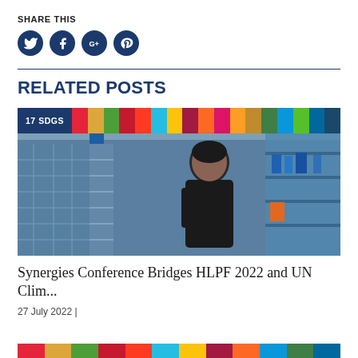SHARE THIS
[Figure (infographic): Social media sharing icons: Twitter, Facebook, Google+, Pinterest — all circular dark navy buttons]
RELATED POSTS
[Figure (photo): Photo of a man examining solar panels in a factory/warehouse setting, with a colorful UN SDG color bar strip at the top labeled '17 SDGS']
Synergies Conference Bridges HLPF 2022 and UN Clim...
27 July 2022 |